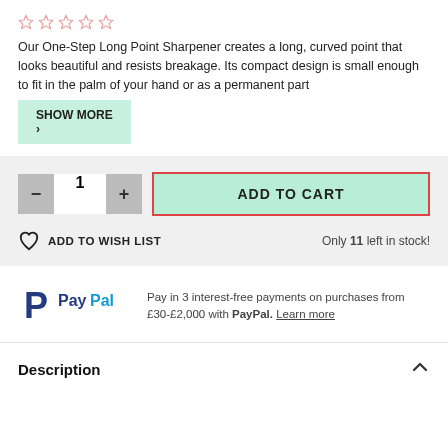[Figure (other): Five empty star rating icons in pink/salmon color]
Our One-Step Long Point Sharpener creates a long, curved point that looks beautiful and resists breakage. Its compact design is small enough to fit in the palm of your hand or as a permanent part
SHOW MORE >
- 1 + ADD TO CART
ADD TO WISH LIST
Only 11 left in stock!
[Figure (logo): PayPal logo with P icon and PayPal wordmark in dark blue]
Pay in 3 interest-free payments on purchases from £30-£2,000 with PayPal. Learn more
Description